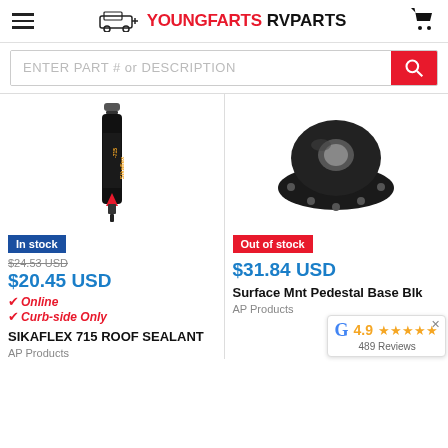YoungFarts RV Parts
ENTER PART # or DESCRIPTION
[Figure (photo): Black tube of Sikaflex-715 roof sealant product]
In stock
$24.53 USD (strikethrough)
$20.45 USD
Online
Curb-side Only
SIKAFLEX 715 ROOF SEALANT
AP Products
[Figure (photo): Black surface mount pedestal base hardware part]
Out of stock
$31.84 USD
Surface Mnt Pedestal Base Blk
AP Products
4.9 ★★★★★ 489 Reviews